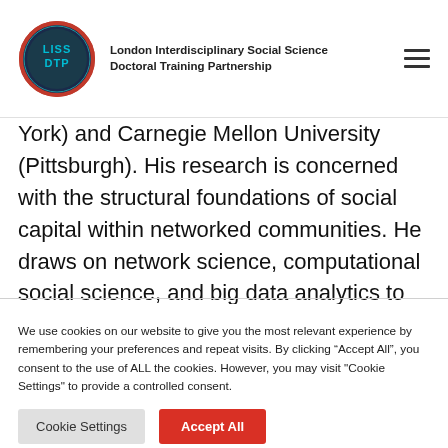London Interdisciplinary Social Science Doctoral Training Partnership
York) and Carnegie Mellon University (Pittsburgh). His research is concerned with the structural foundations of social capital within networked communities. He draws on network science, computational social science, and big data analytics to study dynamics of social
We use cookies on our website to give you the most relevant experience by remembering your preferences and repeat visits. By clicking “Accept All”, you consent to the use of ALL the cookies. However, you may visit “Cookie Settings” to provide a controlled consent.
Cookie Settings | Accept All